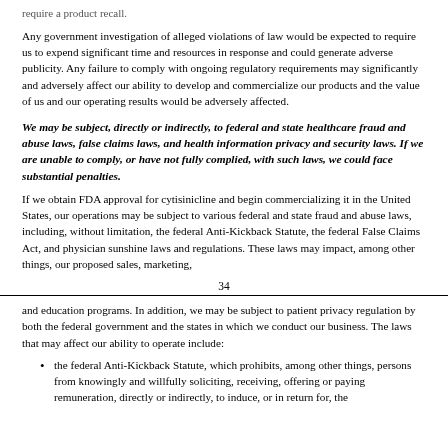require a product recall.
Any government investigation of alleged violations of law would be expected to require us to expend significant time and resources in response and could generate adverse publicity. Any failure to comply with ongoing regulatory requirements may significantly and adversely affect our ability to develop and commercialize our products and the value of us and our operating results would be adversely affected.
We may be subject, directly or indirectly, to federal and state healthcare fraud and abuse laws, false claims laws, and health information privacy and security laws. If we are unable to comply, or have not fully complied, with such laws, we could face substantial penalties.
If we obtain FDA approval for cytisinicline and begin commercializing it in the United States, our operations may be subject to various federal and state fraud and abuse laws, including, without limitation, the federal Anti-Kickback Statute, the federal False Claims Act, and physician sunshine laws and regulations. These laws may impact, among other things, our proposed sales, marketing,
34
and education programs. In addition, we may be subject to patient privacy regulation by both the federal government and the states in which we conduct our business. The laws that may affect our ability to operate include:
the federal Anti-Kickback Statute, which prohibits, among other things, persons from knowingly and willfully soliciting, receiving, offering or paying remuneration, directly or indirectly, to induce, or in return for, the